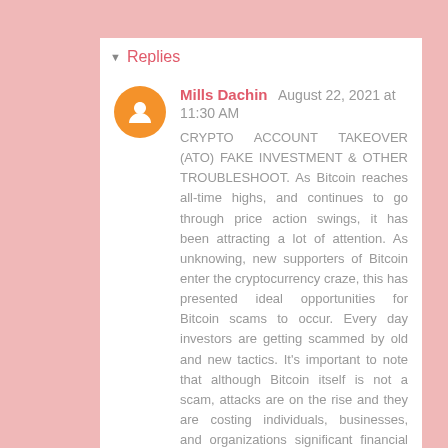▾ Replies
Mills Dachin August 22, 2021 at 11:30 AM
CRYPTO ACCOUNT TAKEOVER (ATO) FAKE INVESTMENT & OTHER TROUBLESHOOT. As Bitcoin reaches all-time highs, and continues to go through price action swings, it has been attracting a lot of attention. As unknowing, new supporters of Bitcoin enter the cryptocurrency craze, this has presented ideal opportunities for Bitcoin scams to occur. Every day investors are getting scammed by old and new tactics. It's important to note that although Bitcoin itself is not a scam, attacks are on the rise and they are costing individuals, businesses, and organizations significant financial and damage that are often difficult to recover quickly. When it comes to Binary Options, there are quite people who have been taken for a ride by a Brokers and at a result of this many have lost a large amount of money to Fake Binary Option Scammers this